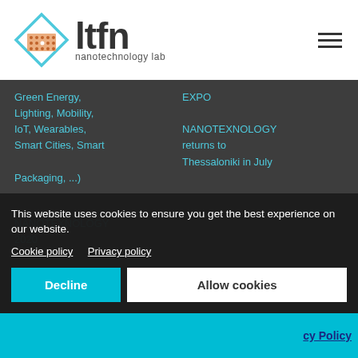[Figure (logo): LTFN nanotechnology lab logo with diamond/rhombus shape icon and bold ltfn text with 'nanotechnology lab' subtitle]
Green Energy, Lighting, Mobility, IoT, Wearables, Smart Cities, Smart Packaging, ...)
EXPO
NANOTEXNOLOGY returns to Thessaloniki in July
NANOTEXNOLOGY 2020
This website uses cookies to ensure you get the best experience on our website.
Cookie policy   Privacy policy
Decline
Allow cookies
cy Policy